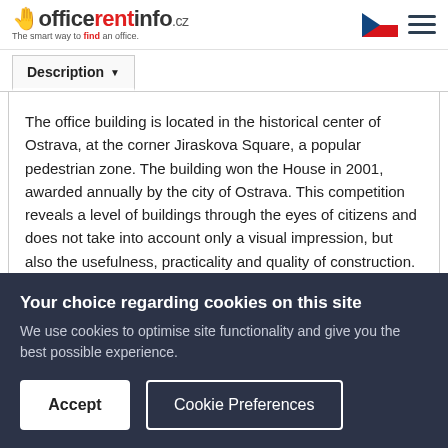officerentinfo.cz — The smart way to find an office.
Description
The office building is located in the historical center of Ostrava, at the corner Jiraskova Square, a popular pedestrian zone. The building won the House in 2001, awarded annually by the city of Ostrava. This competition reveals a level of buildings through the eyes of citizens and does not take into account only a visual impression, but also the usefulness, practicality and quality of construction. The property is indicative imaginary center in Ostrava.
Your choice regarding cookies on this site
We use cookies to optimise site functionality and give you the best possible experience.